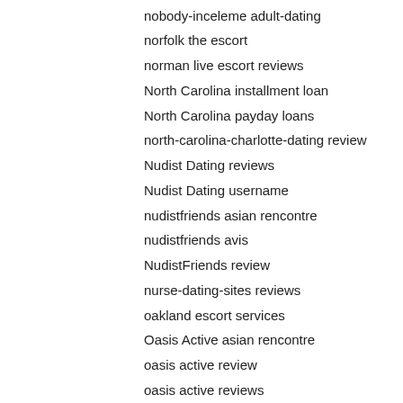nobody-inceleme adult-dating
norfolk the escort
norman live escort reviews
North Carolina installment loan
North Carolina payday loans
north-carolina-charlotte-dating review
Nudist Dating reviews
Nudist Dating username
nudistfriends asian rencontre
nudistfriends avis
NudistFriends review
nurse-dating-sites reviews
oakland escort services
Oasis Active asian rencontre
oasis active review
oasis active reviews
oasis-active-inceleme ilk site
oceanside escort